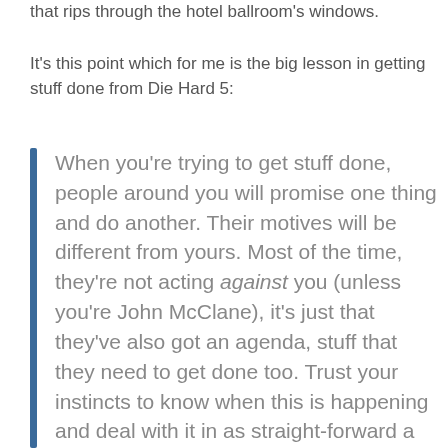that rips through the hotel ballroom's windows.
It's this point which for me is the big lesson in getting stuff done from Die Hard 5:
When you're trying to get stuff done, people around you will promise one thing and do another. Their motives will be different from yours. Most of the time, they're not acting against you (unless you're John McClane), it's just that they've also got an agenda, stuff that they need to get done too. Trust your instincts to know when this is happening and deal with it in as straight-forward a way as possible.